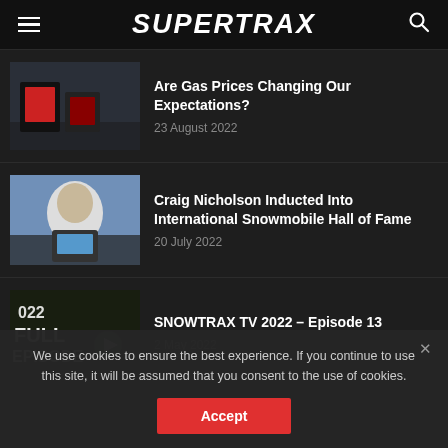SUPERTRAX
Are Gas Prices Changing Our Expectations?
23 August 2022
Craig Nicholson Inducted Into International Snowmobile Hall of Fame
20 July 2022
SNOWTRAX TV 2022 – Episode 13
2 May 2022
We use cookies to ensure the best experience. If you continue to use this site, it will be assumed that you consent to the use of cookies.